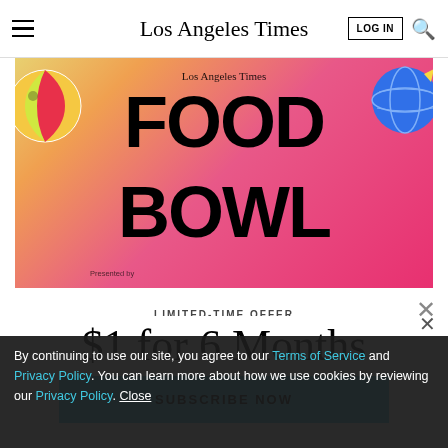Los Angeles Times — LOG IN | Search
[Figure (illustration): Los Angeles Times Food Bowl promotional banner with colorful beach ball on left, blue globe on right, gradient background from tan/yellow to hot pink, large bold black text reading FOOD BOWL, smaller text 'Los Angeles Times' and 'Presented by']
LIMITED-TIME OFFER
$1 for 6 Months
SUBSCRIBE NOW
By continuing to use our site, you agree to our Terms of Service and Privacy Policy. You can learn more about how we use cookies by reviewing our Privacy Policy. Close